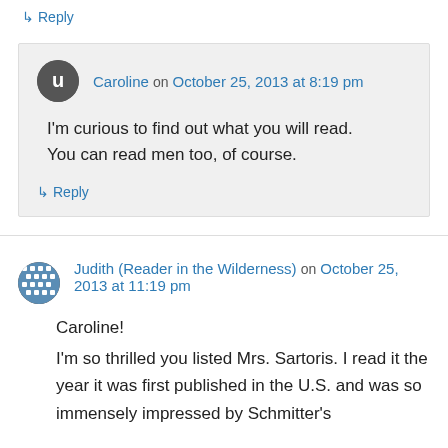↳ Reply
Caroline on October 25, 2013 at 8:19 pm
I'm curious to find out what you will read. You can read men too, of course.
↳ Reply
Judith (Reader in the Wilderness) on October 25, 2013 at 11:19 pm
Caroline!
I'm so thrilled you listed Mrs. Sartoris. I read it the year it was first published in the U.S. and was so immensely impressed by Schmitter's